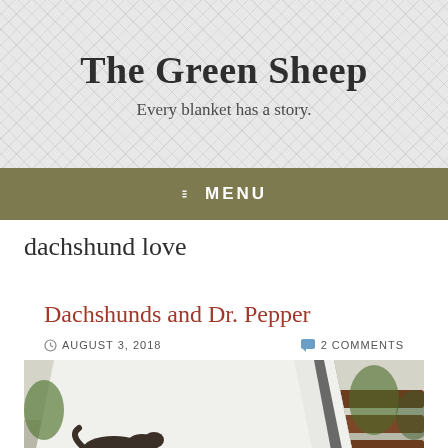The Green Sheep
Every blanket has a story.
≡  MENU
dachshund love
Dachshunds and Dr. Pepper
AUGUST 3, 2018   2 COMMENTS
[Figure (photo): A white blanket with dachshund silhouette pattern draped over a wooden bench outdoors]